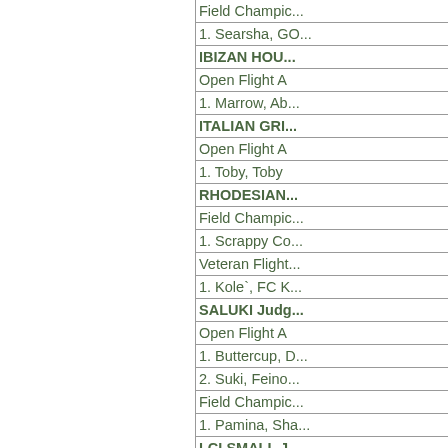Field Champio...
1. Searsha, GO...
IBIZAN HOU...
Open Flight A
1. Marrow, Ab...
ITALIAN GRI...
Open Flight A
1. Toby, Toby
RHODESIAN...
Field Champic...
1. Scrappy Co...
Veteran Flight...
1. Kole`, FC K...
SALUKI Judg...
Open Flight A
1. Buttercup, D...
2. Suki, Feino...
Field Champic...
1. Pamina, Sha...
LCI SMALL J...
Field Champic...
1. Zoey, Zoey
No Best of Bre...